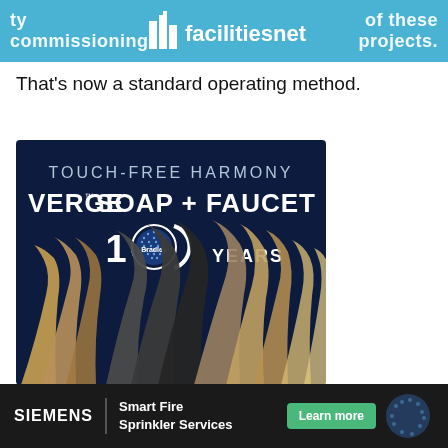ty commissioning facilities net of these projects.
That’s now a standard operating method.
[Figure (photo): Bradley VERGE Soap + Faucet advertisement. Dark navy background with text 'TOUCH-FREE HARMONY VERGE SOAP + FAUCET' and '100 YEARS Bradley' logo. Multiple faucet necks in various metallic finishes (bronze, gold, silver, gunmetal) arranged in a row.]
“I had been a proponent of commissioning, and I had
SIEMENS | Smart Fire Sprinkler Services  Learn more